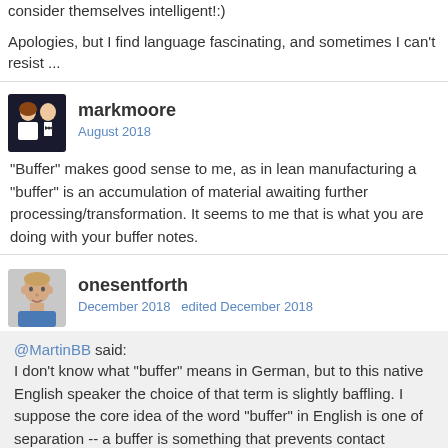consider themselves intelligent!)
Apologies, but I find language fascinating, and sometimes I can't resist ...
markmoore
August 2018
"Buffer" makes good sense to me, as in lean manufacturing a "buffer" is an accumulation of material awaiting further processing/transformation. It seems to me that is what you are doing with your buffer notes.
onesentforth
December 2018   edited December 2018
@MartinBB said:
I don't know what "buffer" means in German, but to this native English speaker the choice of that term is slightly baffling. I suppose the core idea of the word "buffer" in English is one of separation -- a buffer is something that prevents contact between one thing and another. A buffer does not belong to either of the things that it keeps apart. How exactly one can use a note to maintain separation between two other things, I am not sure. If I've understood your conceptualisation correctly (and I'm not sure I have) I get the impression that